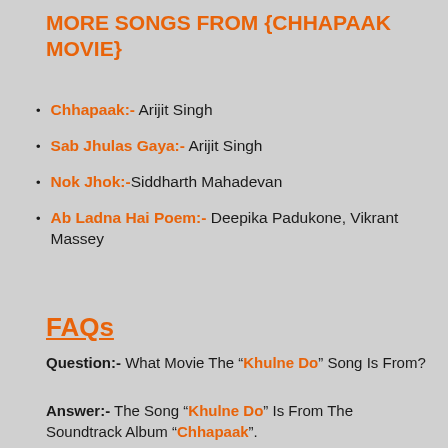MORE SONGS FROM {CHHAPAAK MOVIE}
Chhapaak:- Arijit Singh
Sab Jhulas Gaya:- Arijit Singh
Nok Jhok:- Siddharth Mahadevan
Ab Ladna Hai Poem:- Deepika Padukone, Vikrant Massey
FAQs
Question:- What Movie The “Khulne Do” Song Is From?
Answer:- The Song “Khulne Do” Is From The Soundtrack Album “Chhapaak”.